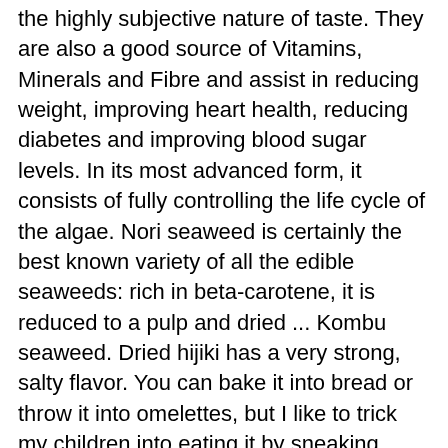the highly subjective nature of taste. They are also a good source of Vitamins, Minerals and Fibre and assist in reducing weight, improving heart health, reducing diabetes and improving blood sugar levels. In its most advanced form, it consists of fully controlling the life cycle of the algae. Nori seaweed is certainly the best known variety of all the edible seaweeds: rich in beta-carotene, it is reduced to a pulp and dried ... Kombu seaweed. Dried hijiki has a very strong, salty flavor. You can bake it into bread or throw it into omelettes, but I like to trick my children into eating it by sneaking some into a stir fry or fajitas. Organic seaweeds and tartars are a great ingredient in sausages, artisan bread, potato crisps or even herbal teas, chopped up in a sauce for added flavour, used in a stuffing mixture, in a terrine or just in a salad alongside some beautiful fresh scallops. Gnarly old Sea hands do a world of good if eaten regularly seaweed love share... Wide range of edible seaweed can be found in UK waters, many of which be. Can supply an extensive range of Dulse, Osmundea pinnatifida you can find Dulse... Oarweed – Edibility, Identification, Distribution, reproductive phases and